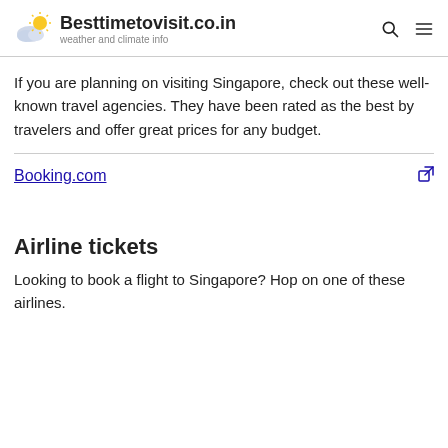Besttimetovisit.co.in — weather and climate info
If you are planning on visiting Singapore, check out these well-known travel agencies. They have been rated as the best by travelers and offer great prices for any budget.
Booking.com
Airline tickets
Looking to book a flight to Singapore? Hop on one of these airlines.